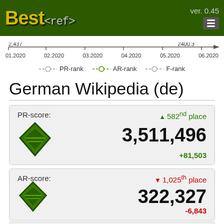Best<ref> ver. 0.45
[Figure (continuous-plot): Timeline bar from 01.2020 to 06.2020, showing values from 2,437 to 2400.3 with an arrow indicating direction.]
PR-rank  AR-rank  F-rank
German Wikipedia (de)
| Score type | Rank | Value | Change |
| --- | --- | --- | --- |
| PR-score: | 582nd place (up) | 3,511,496 | +81,503 |
| AR-score: | 1,025th place (down) | 322,327 | -6,843 |
| F-score: | 1,221st place (down) |  |  |